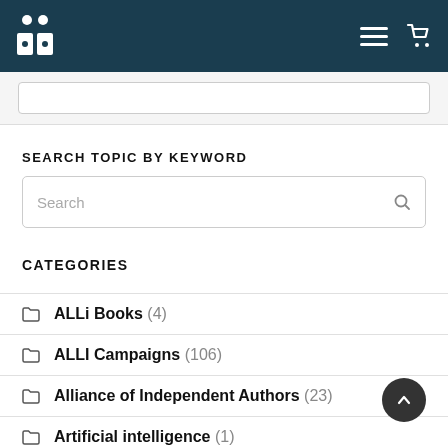Navigation header with logo, hamburger menu and cart icon
SEARCH TOPIC BY KEYWORD
Search
CATEGORIES
ALLi Books (4)
ALLI Campaigns (106)
Alliance of Independent Authors (23)
Artificial intelligence (1)
Audiblegate (6)